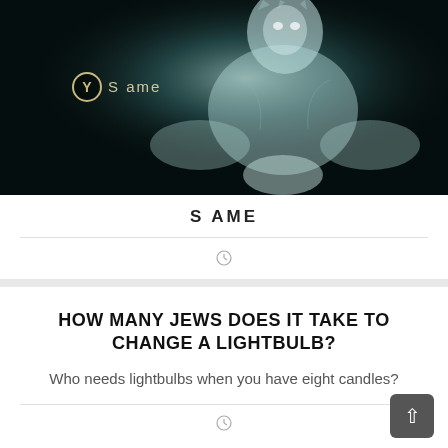[Figure (screenshot): Dark background meme image showing a glowing ghost/wraith figure with a Y button prompt labeled 'S ame' in the lower left]
S AME
clock icon
HOW MANY JEWS DOES IT TAKE TO CHANGE A LIGHTBULB?
Who needs lightbulbs when you have eight candles?
clock icon